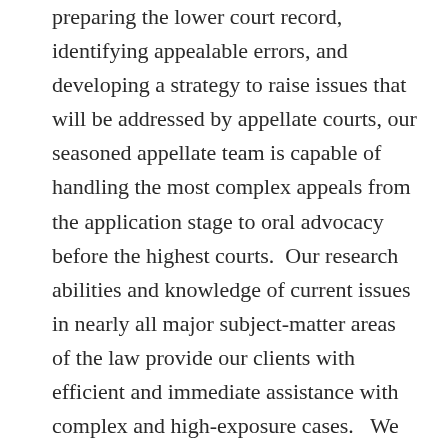preparing the lower court record, identifying appealable errors, and developing a strategy to raise issues that will be addressed by appellate courts, our seasoned appellate team is capable of handling the most complex appeals from the application stage to oral advocacy before the highest courts.  Our research abilities and knowledge of current issues in nearly all major subject-matter areas of the law provide our clients with efficient and immediate assistance with complex and high-exposure cases.   We are experienced at navigating through the Michigan Court of Appeals and Supreme Court to shepherd the appeal in the most expeditious